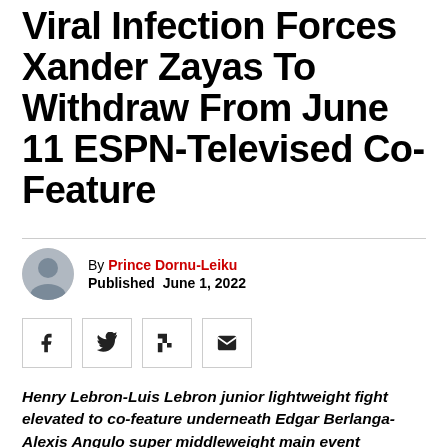Viral Infection Forces Xander Zayas To Withdraw From June 11 ESPN-Televised Co-Feature
By Prince Dornu-Leiku
Published June 1, 2022
Henry Lebron-Luis Lebron junior lightweight fight elevated to co-feature underneath Edgar Berlanga-Alexis Angulo super middleweight main event